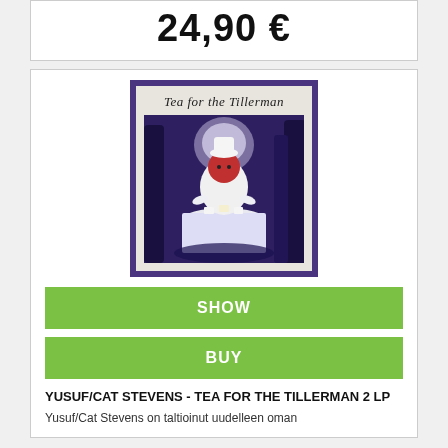24,90 €
[Figure (photo): Album cover of Tea for the Tillerman by Yusuf/Cat Stevens, showing a fantasy illustration of a character seated at a tea table in a moonlit forest setting, with the album title in ornate lettering at the top]
SHOW
BUY
YUSUF/CAT STEVENS - TEA FOR THE TILLERMAN 2 LP
Yusuf/Cat Stevens on taltioinut uudelleen oman